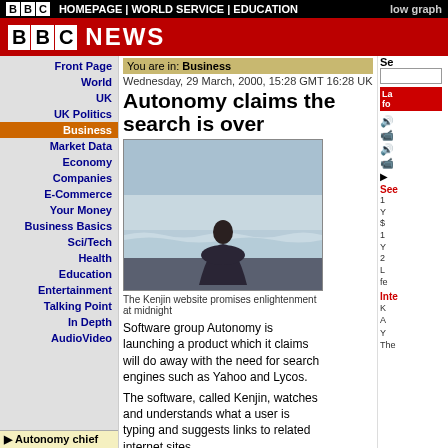BBC HOMEPAGE | WORLD SERVICE | EDUCATION    low graph
[Figure (logo): BBC NEWS red header logo]
You are in: Business
Wednesday, 29 March, 2000, 15:28 GMT 16:28 UK
Autonomy claims the search is over
[Figure (photo): Man in suit sitting on beach facing ocean waves, back to camera]
The Kenjin website promises enlightenment at midnight
Software group Autonomy is launching a product which it claims will do away with the need for search engines such as Yahoo and Lycos.
The software, called Kenjin, watches and understands what a user is typing and suggests links to related internet sites.
▶ Autonomy chief